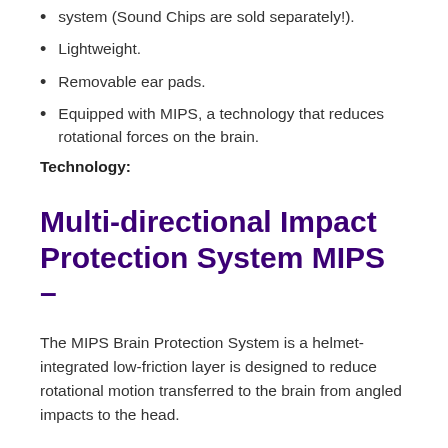system (Sound Chips are sold separately!).
Lightweight.
Removable ear pads.
Equipped with MIPS, a technology that reduces rotational forces on the brain.
Technology:
Multi-directional Impact Protection System MIPS –
The MIPS Brain Protection System is a helmet-integrated low-friction layer is designed to reduce rotational motion transferred to the brain from angled impacts to the head.
Impact Shields –